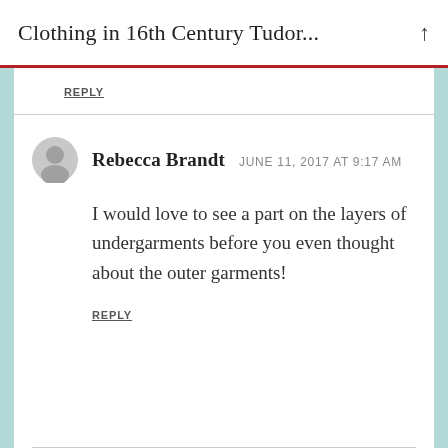Clothing in 16th Century Tudor...
REPLY
Rebecca Brandt  JUNE 11, 2017 AT 9:17 AM
I would love to see a part on the layers of undergarments before you even thought about the outer garments!
REPLY